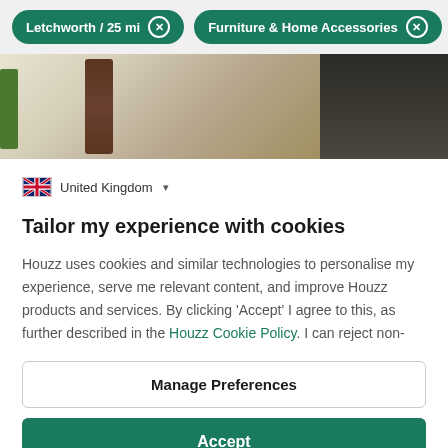Letchworth / 25 mi  ×    Furniture & Home Accessories  ×
[Figure (photo): Interior room photo strip showing a plant/vase arrangement on left and dark wall panel on right]
🇬🇧 United Kingdom ▾
Tailor my experience with cookies
Houzz uses cookies and similar technologies to personalise my experience, serve me relevant content, and improve Houzz products and services. By clicking 'Accept' I agree to this, as further described in the Houzz Cookie Policy. I can reject non-
Manage Preferences
Accept